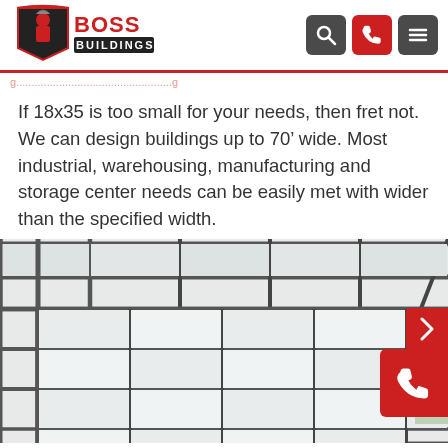[Figure (logo): Boss Buildings logo with warrior helmet in shield, red and black text]
If 18x35 is too small for your needs, then fret not. We can design buildings up to 70’ wide. Most industrial, warehousing, manufacturing and storage center needs can be easily met with wider than the specified width.
[Figure (photo): Interior of a steel/metal building showing white panel walls and metal grid framing structure viewed from corner angle]
GET YOUR PRICE   ☎ (866) 217-2374